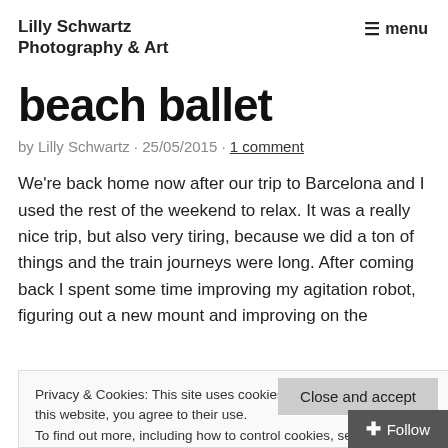Lilly Schwartz Photography & Art
beach ballet
by Lilly Schwartz · 25/05/2015 · 1 comment
We're back home now after our trip to Barcelona and I used the rest of the weekend to relax. It was a really nice trip, but also very tiring, because we did a ton of things and the train journeys were long. After coming back I spent some time improving my agitation robot, figuring out a new mount and improving on the
Privacy & Cookies: This site uses cookies. By continuing to use this website, you agree to their use.
To find out more, including how to control cookies, see here: Cookie Policy
Close and accept
+ Follow